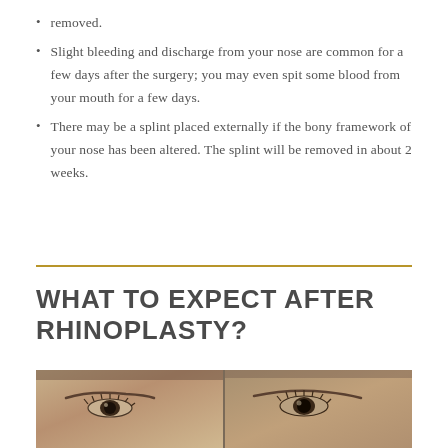removed.
Slight bleeding and discharge from your nose are common for a few days after the surgery; you may even spit some blood from your mouth for a few days.
There may be a splint placed externally if the bony framework of your nose has been altered. The splint will be removed in about 2 weeks.
WHAT TO EXPECT AFTER RHINOPLASTY?
[Figure (photo): Side-by-side comparison photo showing two views of a person's face (before and after rhinoplasty), cropped to show the upper portion of the face including eyes and forehead.]